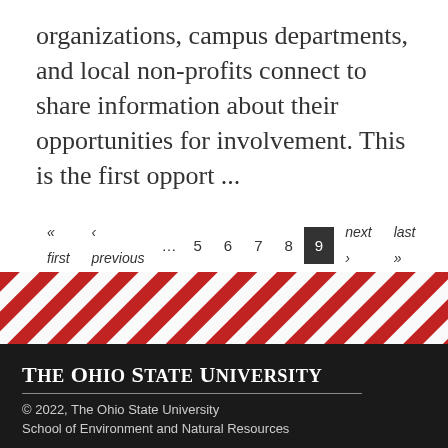organizations, campus departments, and local non-profits connect to share information about their opportunities for involvement. This is the first opport ...
« first ‹ previous … 5 6 7 8 9 next › last » 12 13 …
[Figure (other): Diagonal red and white striped decorative banner]
The Ohio State University
© 2022, The Ohio State University
School of Environment and Natural Resources